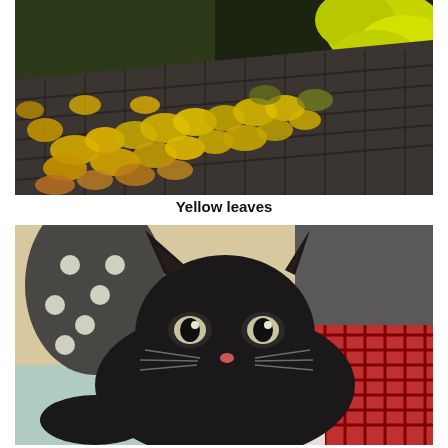[Figure (photo): Autumn yellow maple leaves scattered on dark roof shingles with trees in background]
Yellow leaves
[Figure (photo): Close-up of a black cat lying on a red plaid blanket and polka dot fabric, looking directly at camera]